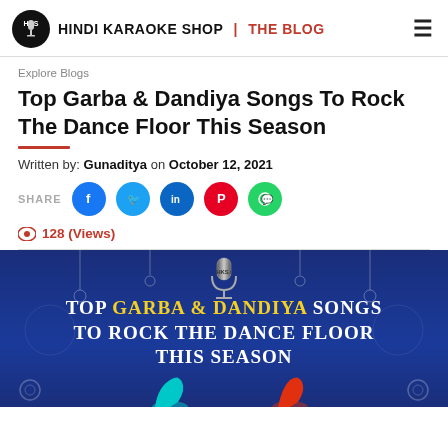HINDI KARAOKE SHOP | THE BLOG
Explore Blogs
Top Garba & Dandiya Songs To Rock The Dance Floor This Season
Written by: Gunaditya on October 12, 2021
SHARE [Facebook] [Twitter] [LinkedIn] [Pinterest] [WhatsApp]
128 (Views)
[Figure (illustration): Dark blue banner with text: TOP GARBA & DANDIYA SONGS TO ROCK THE DANCE FLOOR THIS SEASON, with a microphone logo at top center and decorative hanging ornaments]